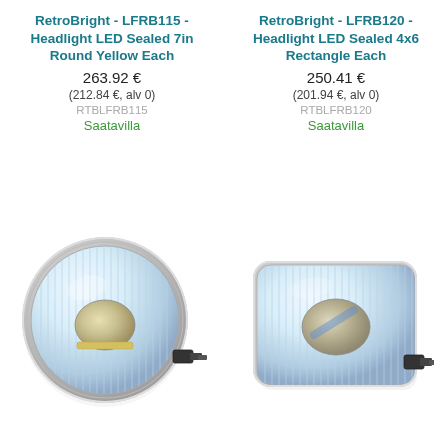RetroBright - LFRB115 - Headlight LED Sealed 7in Round Yellow Each
263.92 €
(212.84 €, alv 0)
RTBLFRB115
Saatavilla
RetroBright - LFRB120 - Headlight LED Sealed 4x6 Rectangle Each
250.41 €
(201.94 €, alv 0)
RTBLFRB120
Saatavilla
[Figure (photo): Round 7-inch LED sealed headlight with chrome bezel and connector plug, RetroBright LFRB115]
[Figure (photo): Rectangular 4x6 LED sealed headlight with chrome bezel and connector plug, RetroBright LFRB120]